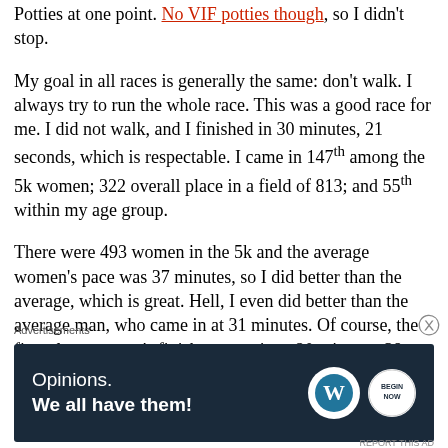Potties at one point. No VIF potties though, so I didn't stop.
My goal in all races is generally the same: don't walk. I always try to run the whole race. This was a good race for me. I did not walk, and I finished in 30 minutes, 21 seconds, which is respectable. I came in 147th among the 5k women; 322 overall place in a field of 813; and 55th within my age group.
There were 493 women in the 5k and the average women's pace was 37 minutes, so I did better than the average, which is great. Hell, I even did better than the average man, who came in at 31 minutes. Of course, the first place women's finisher came in at 20 minutes. 38 seconds: and the first place man crossed
Advertisements
[Figure (infographic): Dark navy blue advertisement banner with text 'Opinions. We all have them!' alongside WordPress logo and another circular icon.]